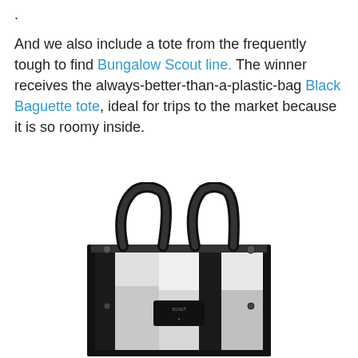.
And we also include a tote from the frequently tough to find Bungalow Scout line. The winner receives the always-better-than-a-plastic-bag Black Baguette tote, ideal for trips to the market because it is so roomy inside.
[Figure (photo): Black and white photograph of a Black Baguette tote bag with black handles and a black-and-white checkered/plaid pattern body, showing a small brand label on the front.]